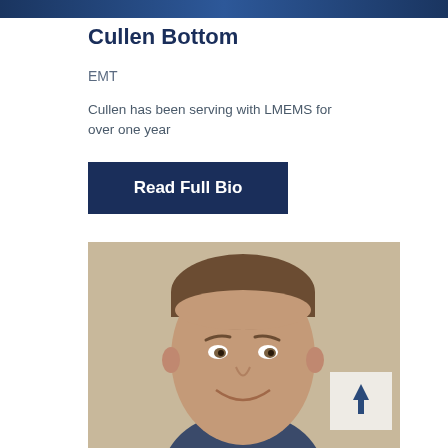[Figure (photo): Top banner image showing partial photo, navy blue strip]
Cullen Bottom
EMT
Cullen has been serving with LMEMS for over one year
Read Full Bio
[Figure (photo): Headshot of Cullen Bottom, a middle-aged man with short brown hair, smiling, wearing a dark navy shirt, against a beige/tan background. A white box with an upward arrow (scroll-to-top button) appears in the lower right of the photo.]